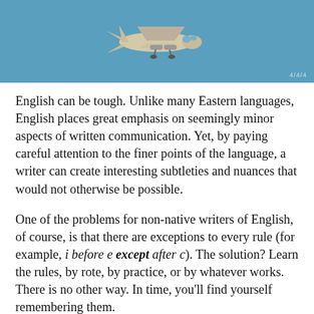[Figure (photo): Photograph of a small aircraft (plane model or toy) viewed from below/front against a blue sky background, with a small handwritten watermark in the bottom right corner.]
English can be tough. Unlike many Eastern languages, English places great emphasis on seemingly minor aspects of written communication. Yet, by paying careful attention to the finer points of the language, a writer can create interesting subtleties and nuances that would not otherwise be possible.
One of the problems for non-native writers of English, of course, is that there are exceptions to every rule (for example, i before e except after c). The solution? Learn the rules, by rote, by practice, or by whatever works. There is no other way. In time, you'll find yourself remembering them.
Also, Americans have a great penchant for colloquialisms and slang. We are a very diverse nation, and we borrow from every culture. Colloquial references to pop culture and sports are particularly problematic to the person familiar with the